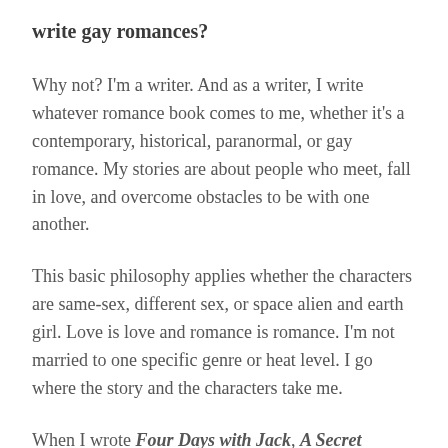write gay romances?
Why not? I'm a writer. And as a writer, I write whatever romance book comes to me, whether it's a contemporary, historical, paranormal, or gay romance. My stories are about people who meet, fall in love, and overcome obstacles to be with one another.
This basic philosophy applies whether the characters are same-sex, different sex, or space alien and earth girl. Love is love and romance is romance. I'm not married to one specific genre or heat level. I go where the story and the characters take me.
When I wrote Four Days with Jack, A Secret Match, and Killer in Wolf's Clothing I trusted my instincts and wrote the